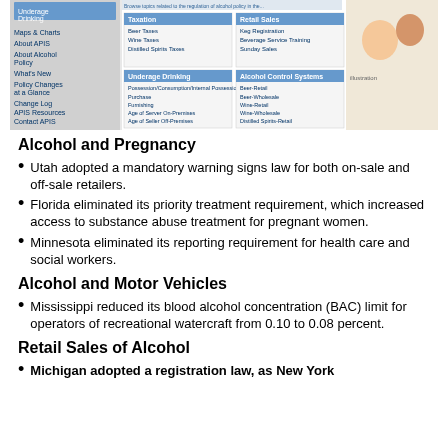[Figure (screenshot): Screenshot of APIS (Alcohol Policy Information System) website showing navigation menu and policy categories including Taxation, Retail Sales, Underage Drinking, and Alcohol Control Systems with subcategory links.]
Alcohol and Pregnancy
Utah adopted a mandatory warning signs law for both on-sale and off-sale retailers.
Florida eliminated its priority treatment requirement, which increased access to substance abuse treatment for pregnant women.
Minnesota eliminated its reporting requirement for health care and social workers.
Alcohol and Motor Vehicles
Mississippi reduced its blood alcohol concentration (BAC) limit for operators of recreational watercraft from 0.10 to 0.08 percent.
Retail Sales of Alcohol
Michigan adopted a registration law, as New York...